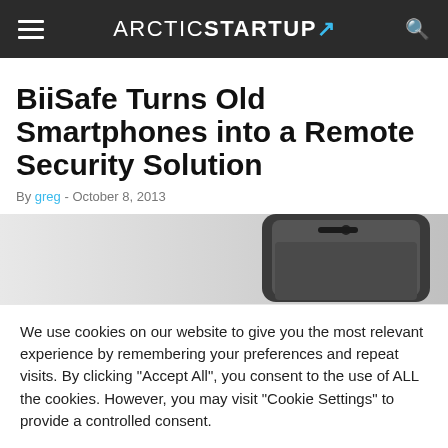ARCTICSTARTUP
BiiSafe Turns Old Smartphones into a Remote Security Solution
By greg - October 8, 2013
[Figure (photo): Partial view of a smartphone (dark, rounded corners) seen from above]
We use cookies on our website to give you the most relevant experience by remembering your preferences and repeat visits. By clicking "Accept All", you consent to the use of ALL the cookies. However, you may visit "Cookie Settings" to provide a controlled consent.